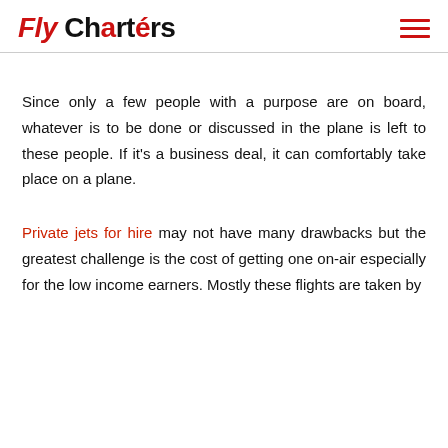Fly Charters
Since only a few people with a purpose are on board, whatever is to be done or discussed in the plane is left to these people. If it's a business deal, it can comfortably take place on a plane.
Private jets for hire may not have many drawbacks but the greatest challenge is the cost of getting one on-air especially for the low income earners. Mostly these flights are taken by